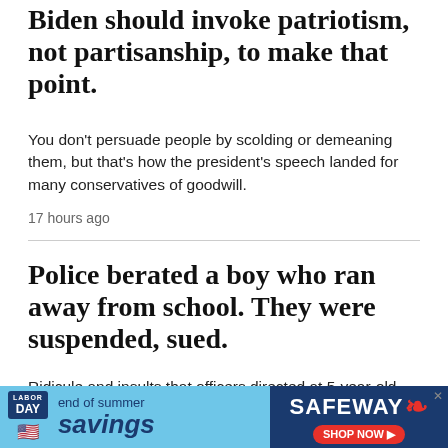Biden should invoke patriotism, not partisanship, to make that point.
You don't persuade people by scolding or demeaning them, but that's how the president's speech landed for many conservatives of goodwill.
17 hours ago
Police berated a boy who ran away from school. They were suspended, sued.
Ridicule and insults that officers directed at 5-year-old were caught on camera in Montgomery County.
20 hours ago
[Figure (other): Safeway advertisement banner: Labor Day end of summer savings, Shop Now button]